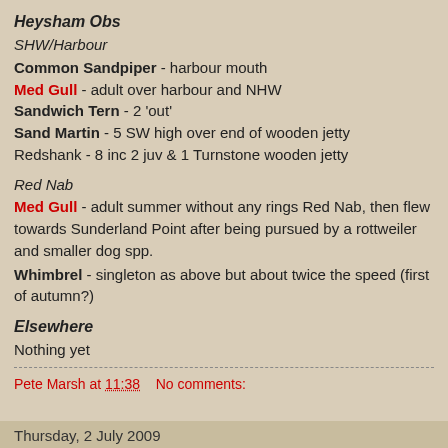Heysham Obs
SHW/Harbour
Common Sandpiper - harbour mouth
Med Gull - adult over harbour and NHW
Sandwich Tern - 2 'out'
Sand Martin - 5 SW high over end of wooden jetty
Redshank - 8 inc 2 juv & 1 Turnstone wooden jetty
Red Nab
Med Gull - adult summer without any rings Red Nab, then flew towards Sunderland Point after being pursued by a rottweiler and smaller dog spp.
Whimbrel - singleton as above but about twice the speed (first of autumn?)
Elsewhere
Nothing yet
Pete Marsh at 11:38   No comments:
Thursday, 2 July 2009